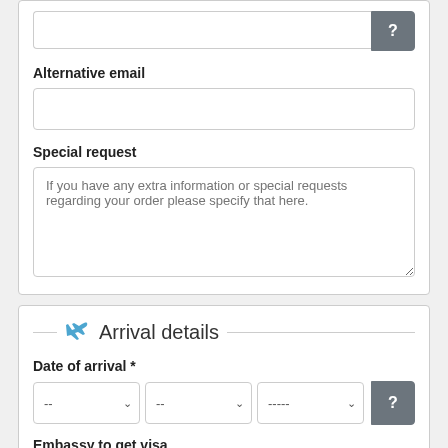[Figure (screenshot): Text input field with a help button (?) on the right]
Alternative email
[Figure (screenshot): Text input field for alternative email]
Special request
[Figure (screenshot): Textarea with placeholder: If you have any extra information or special requests regarding your order please specify that here.]
Arrival details
Date of arrival *
[Figure (screenshot): Three dropdowns for day (--), month (--), year (-----) and a help button]
Embassy to get visa
[Figure (screenshot): Embassy dropdown showing Embassy in Phnom Penh with pin icon and help button]